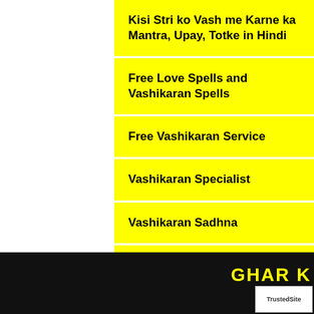Kisi Stri ko Vash me Karne ka Mantra, Upay, Totke in Hindi
Free Love Spells and Vashikaran Spells
Free Vashikaran Service
Vashikaran Specialist
Vashikaran Sadhna
Girl Vashikaran Specialist Baba
Vashikaran Solution Mantra
Money Gain Mantra - Laxmi Lamp
Vashikaran By Yellow Thread
GHAR